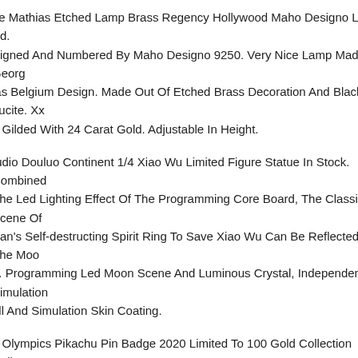ge Mathias Etched Lamp Brass Regency Hollywood Maho Designo Limited Ed. Signed And Numbered By Maho Designo 9250. Very Nice Lamp Made By Georg ias Belgium Design. Made Out Of Etched Brass Decoration And Black Lucite. Xx o Gilded With 24 Carat Gold. Adjustable In Height.
tudio Douluo Continent 1/4 Xiao Wu Limited Figure Statue In Stock. Combined The Led Lighting Effect Of The Programming Core Board, The Classic Scene Of San's Self-destructing Spirit Ring To Save Xiao Wu Can Be Reflected In The Moo e. Programming Led Moon Scene And Luminous Crystal, Independent Simulation all And Simulation Skin Coating.
o Olympics Pikachu Pin Badge 2020 Limited To 100 Gold Collection Collector.
tudios 1/4 Medusa Limited Statue Collectible Figure Model In Stock. Commodity n At Present, The Hand-made Model Factories On The Earth Are Basically olished In China. Limited Edition 999. Due To The Light And Screen Difference, tem's Color May Be Slightly Different From The Picture.
egrappa Privilege Gioiello Peacock Sterling Silver Fountain Pen Limited Mint. The egrappa Privilege Gioiello Peacock Silver Fountain Pen Has The Distinction Of g One Of The Only Pens Crafted By This Technique In Sterling Silver. Originally